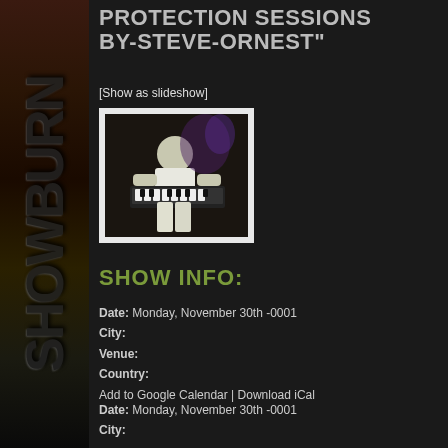PROTECTION SESSIONS BY-STEVE-ORNEST"
[Show as slideshow]
[Figure (photo): A person playing a keyboard/synthesizer instrument in a dark setting]
SHOW INFO:
Date: Monday, November 30th -0001
City:
Venue:
Country:
Add to Google Calendar | Download iCal
Date: Monday, November 30th -0001
City: